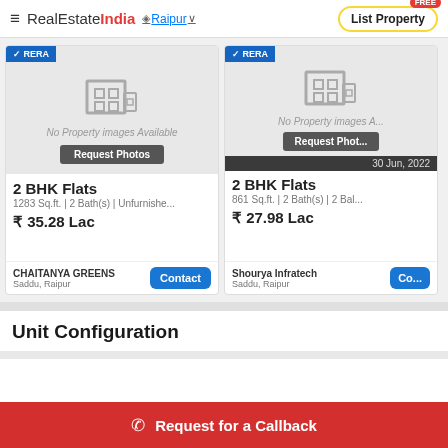RealEstateIndia — Raipur — List Property
[Figure (screenshot): Property listing card 1: 2 BHK Flats, 1283 Sq.ft., 2 Bath(s), Unfurnished, ₹35.28 Lac, CHAITANYA GREENS, Saddu Raipur, RERA verified, no property images available]
[Figure (screenshot): Property listing card 2: 2 BHK Flats, 861 Sq.ft., 2 Bath(s), 2 Balconies, ₹27.98 Lac, Shourya Infratech, Saddu Raipur, RERA verified, 30 Jun 2022, no property images available]
Unit Configuration
Request for a Callback